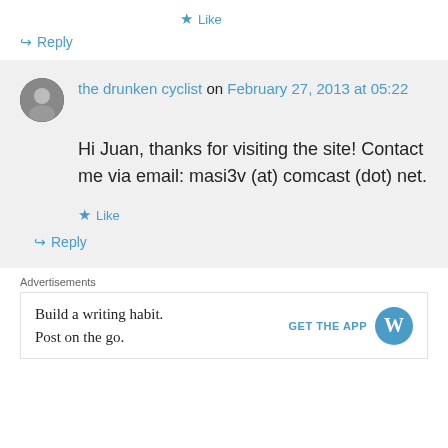★ Like
↪ Reply
the drunken cyclist on February 27, 2013 at 05:22
Hi Juan, thanks for visiting the site! Contact me via email: masi3v (at) comcast (dot) net.
★ Like
↪ Reply
Advertisements
Build a writing habit. Post on the go.
GET THE APP